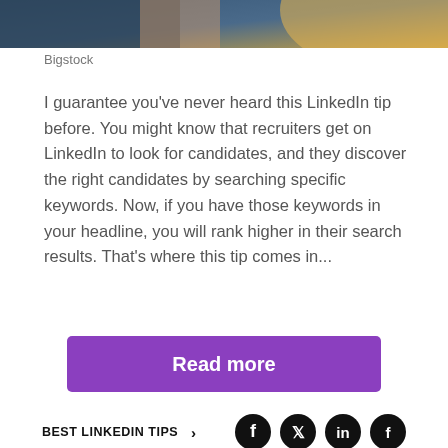[Figure (photo): Partial photo of a person, warm yellow/orange and blue tones, cropped at top of page]
Bigstock
I guarantee you've never heard this LinkedIn tip before. You might know that recruiters get on LinkedIn to look for candidates, and they discover the right candidates by searching specific keywords. Now, if you have those keywords in your headline, you will rank higher in their search results. That's where this tip comes in...
Read more
BEST LINKEDIN TIPS ›
ADVERTISEMENT
COMMUNITY
Test-Teach-Test: A Quick